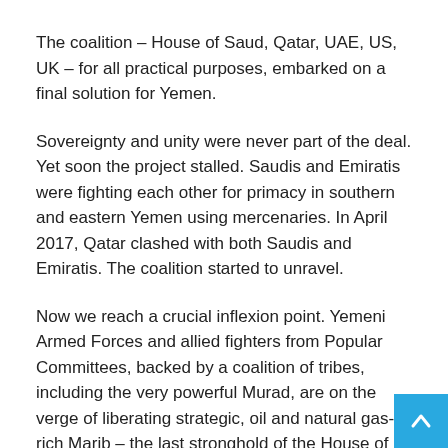The coalition – House of Saud, Qatar, UAE, US, UK – for all practical purposes, embarked on a final solution for Yemen.
Sovereignty and unity were never part of the deal. Yet soon the project stalled. Saudis and Emiratis were fighting each other for primacy in southern and eastern Yemen using mercenaries. In April 2017, Qatar clashed with both Saudis and Emiratis. The coalition started to unravel.
Now we reach a crucial inflexion point. Yemeni Armed Forces and allied fighters from Popular Committees, backed by a coalition of tribes, including the very powerful Murad, are on the verge of liberating strategic, oil and natural gas-rich Marib – the last stronghold of the House of Saud-backed mercenary army.